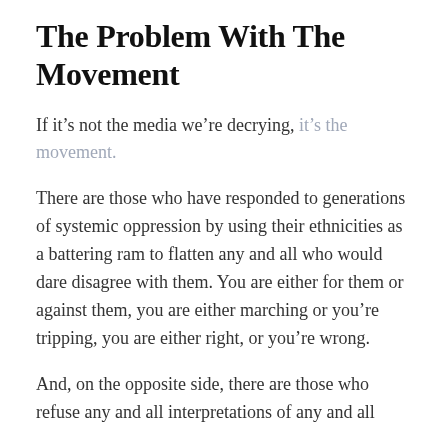The Problem With The Movement
If it’s not the media we’re decrying, it’s the movement.
There are those who have responded to generations of systemic oppression by using their ethnicities as a battering ram to flatten any and all who would dare disagree with them. You are either for them or against them, you are either marching or you’re tripping, you are either right, or you’re wrong.
And, on the opposite side, there are those who refuse any and all interpretations of any and all